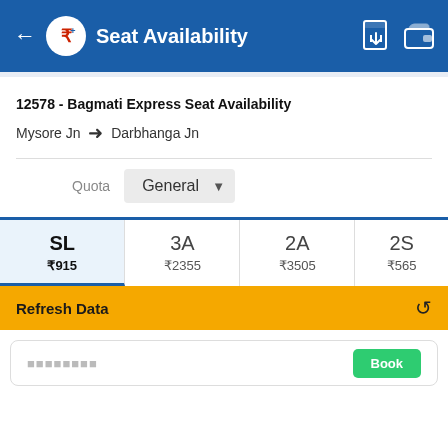Seat Availability
12578 - Bagmati Express Seat Availability
Mysore Jn → Darbhanga Jn
Quota: General
| Class | Price |
| --- | --- |
| SL | ₹915 |
| 3A | ₹2355 |
| 2A | ₹3505 |
| 2S | ₹565 |
Refresh Data